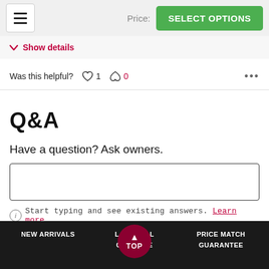Price: SELECT OPTIONS
Show details
Was this helpful? 1 0 ...
Q&A
Have a question? Ask owners.
Start typing and see existing answers. Learn more
NEW ARRIVALS  LAST CALL  PRICE MATCH  CLE ALE  GUARANTEE